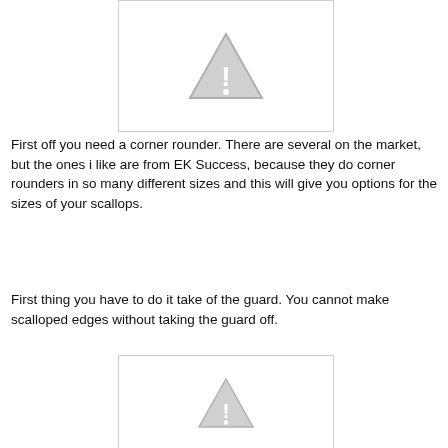[Figure (illustration): Placeholder image with grey warning/caution triangle icon on white background with grey border]
First off you need a corner rounder. There are several on the market, but the ones i like are from EK Success, because they do corner rounders in so many different sizes and this will give you options for the sizes of your scallops.
First thing you have to do it take of the guard. You cannot make scalloped edges without taking the guard off.
[Figure (illustration): Placeholder image with grey warning/caution triangle icon on white background with grey border]